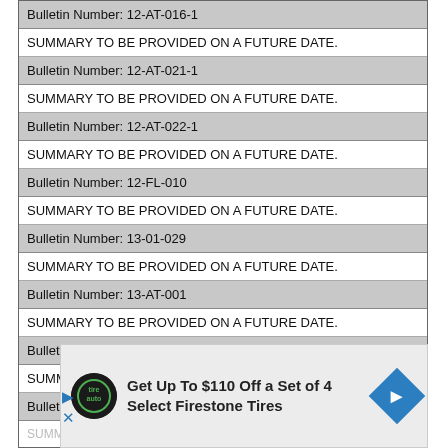| Bulletin Number: 12-AT-016-1 |
| SUMMARY TO BE PROVIDED ON A FUTURE DATE. |
| Bulletin Number: 12-AT-021-1 |
| SUMMARY TO BE PROVIDED ON A FUTURE DATE. |
| Bulletin Number: 12-AT-022-1 |
| SUMMARY TO BE PROVIDED ON A FUTURE DATE. |
| Bulletin Number: 12-FL-010 |
| SUMMARY TO BE PROVIDED ON A FUTURE DATE. |
| Bulletin Number: 13-01-029 |
| SUMMARY TO BE PROVIDED ON A FUTURE DATE. |
| Bulletin Number: 13-AT-001 |
| SUMMARY TO BE PROVIDED ON A FUTURE DATE. |
| Bulletin Number: 13-AT-004 |
| SUMMARY TO BE PROVIDED ON A FUTURE DATE. |
| Bulletin Number: 13-AT-006 |
| SUMMARY TO BE PROVIDED ON A FUTURE DATE. (partial) |
[Figure (infographic): Advertisement overlay: Firestone Tires - Get Up To $110 Off a Set of 4 Select Firestone Tires, with Firestone auto logo and blue arrow icon]